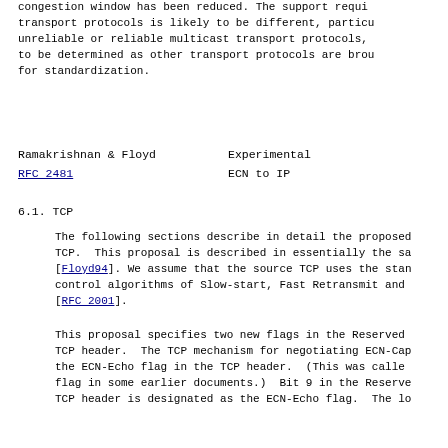congestion window has been reduced. The support requi transport protocols is likely to be different, particu unreliable or reliable multicast transport protocols, to be determined as other transport protocols are brou for standardization.
Ramakrishnan & Floyd    Experimental
RFC 2481    ECN to IP
6.1. TCP
The following sections describe in detail the proposed TCP.  This proposal is described in essentially the sa [Floyd94]. We assume that the source TCP uses the stan control algorithms of Slow-start, Fast Retransmit and [RFC 2001].
This proposal specifies two new flags in the Reserved TCP header.  The TCP mechanism for negotiating ECN-Cap the ECN-Echo flag in the TCP header.  (This was calle flag in some earlier documents.)  Bit 9 in the Reserve TCP header is designated as the ECN-Echo flag.  The lo